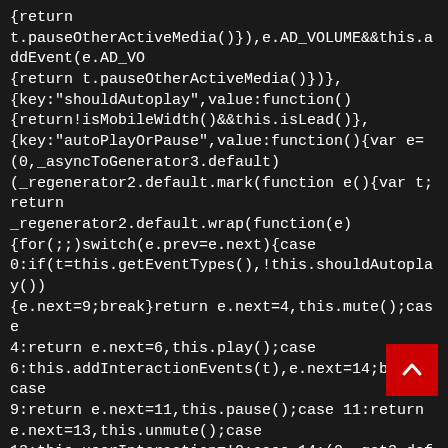{return t.pauseOtherActiveMedia()}),e.AD_VOLUME&&this.addEvent(e.AD_VOLUME,function(){return t.pauseOtherActiveMedia()})},{key:"shouldAutoplay",value:function(){return!isMobileWidth()&&this.isLead()},{key:"autoPlayOrPause",value:function(){var e=(0,_asyncToGenerator3.default)(_regenerator2.default.mark(function e(){var t;return _regenerator2.default.wrap(function(e){for(;;)switch(e.prev=e.next){case 0:if(t=this.getEventTypes(),!this.shouldAutoplay()){e.next=9;break}return e.next=4,this.mute();case 4:return e.next=6,this.play();case 6:this.addInteractionEvents(t),e.next=14;break;case 9:return e.next=11,this.pause();case 11:return e.next=13,this.unmute();case 13:this.userInteraction=!0;case 14:(0,_get3.default)((0,_getPrototypeOf3.default)(r.prototype),"prepareMedia",this).call(this),this.unmuteOnPlay(t),this.17:case"end":return e.stop()}},e,this)}));return function(){return e.apply(this,arguments)}()},
[Figure (other): Red back-to-top button with upward chevron arrow]